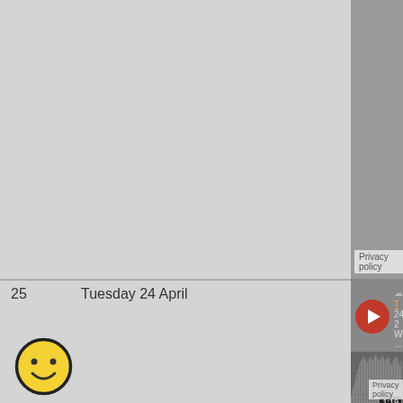[Figure (screenshot): Top partial row of a calendar or table showing a gray content panel with 'Privacy policy' label at bottom left of the content cell]
Privacy policy
25
Tuesday 24 April
[Figure (screenshot): SoundCloud embedded player widget showing Tamil Language audio track '24 2 Words ...' with orange play button, waveform visualization, time 1:19, orange 'Play on SoundCloud' button, and gray 'Listen in browser' button]
Tamil Language ...
24 2 Words ...
1:19
Play on SoundCloud
Listen in browser
Privacy policy